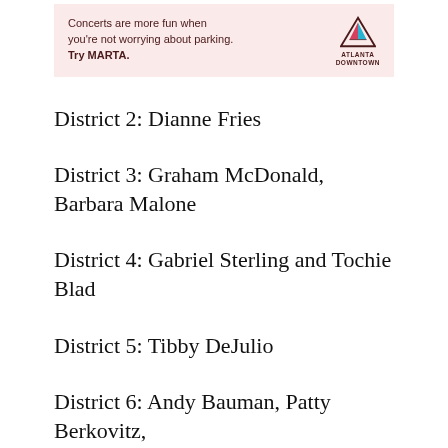[Figure (other): Advertisement banner: 'Concerts are more fun when you're not worrying about parking. Try MARTA.' with Atlanta Downtown logo]
District 2: Dianne Fries
District 3: Graham McDonald, Barbara Malone
District 4: Gabriel Sterling and Tochie Blad
District 5: Tibby DeJulio
District 6: Andy Bauman, Patty Berkovitz, Jennifer Steele, John Stoj, Sonja Tonpea